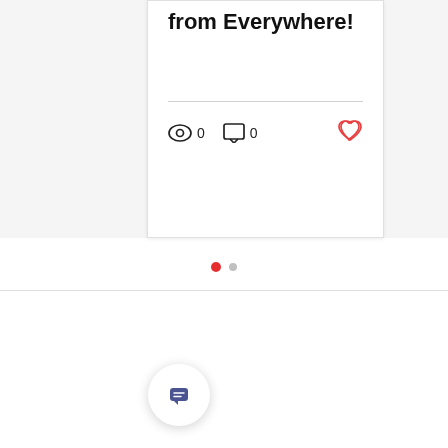from Everywhere!
[Figure (screenshot): Blog post card with title 'from Everywhere!', a horizontal divider, view count icon with 0, comment icon with 0, and a heart/like icon. Below the card are two pagination dots (one red active, one grey inactive). A horizontal rule divides the carousel from the rest of the page. A circular chat button with speech bubble icon appears at the bottom left.]